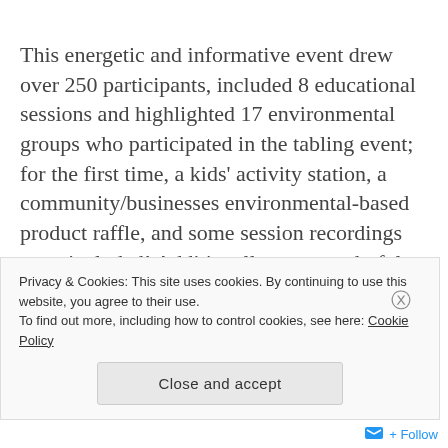This energetic and informative event drew over 250 participants, included 8 educational sessions and highlighted 17 environmental groups who participated in the tabling event; for the first time, a kids' activity station, a community/businesses environmental-based product raffle, and some session recordings were included! Additionally, our wonderful “green” break was hosted by the Rappahannock Group Sierra Club and the CFHS
Privacy & Cookies: This site uses cookies. By continuing to use this website, you agree to their use.
To find out more, including how to control cookies, see here: Cookie Policy
Close and accept